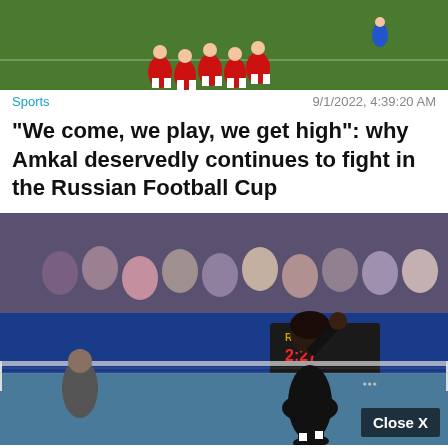[Figure (photo): Soccer players in red uniforms on a green field, partially cropped at top]
Sports   9/1/2022, 4:39:20 AM
“We come, we play, we get high”: why Amkal deservedly continues to fight in the Russian Football Cup
[Figure (photo): Tennis player in black outfit celebrating on court, with Rolex scoreboard and Cadillac logo visible; Close X button overlay]
Sports   9/1/2022, 4:27:38 AM
Tennis: Serena Williams qualifies for the